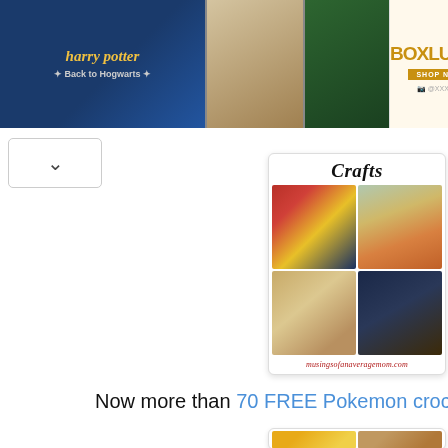[Figure (screenshot): Ad banner showing Harry Potter merchandise and BoxLunch advertisement at the top]
[Figure (screenshot): Navigation up/back arrow button]
[Figure (screenshot): Harry Potter Crafts Pinterest pin card with grid of 4 craft photos and musingsofanaveragemom.com URL]
Now more than 70 FREE Pokemon crochet patterns
[Figure (screenshot): Pokemon crochet patterns pin card showing two crocheted Eevee plushies]